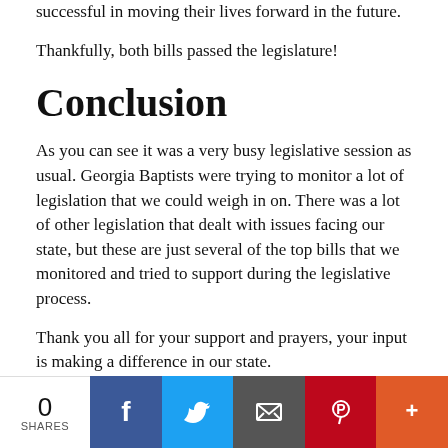successful in moving their lives forward in the future.
Thankfully, both bills passed the legislature!
Conclusion
As you can see it was a very busy legislative session as usual. Georgia Baptists were trying to monitor a lot of legislation that we could weigh in on. There was a lot of other legislation that dealt with issues facing our state, but these are just several of the top bills that we monitored and tried to support during the legislative process.
Thank you all for your support and prayers, your input is making a difference in our state.
Please stay tuned to the Christian Index, our
[Figure (infographic): Social sharing bar with share count (0 SHARES), Facebook, Twitter, Email, Pinterest, and More buttons]